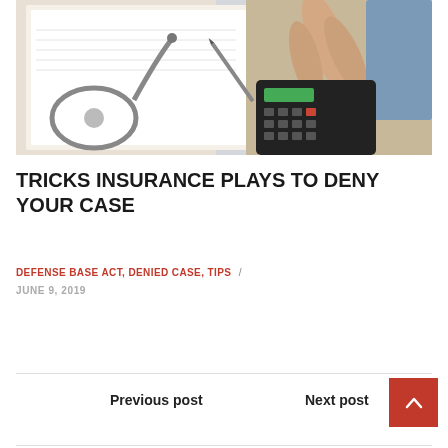[Figure (photo): A person's hand using a calculator on a desk with a stethoscope and open book/notebook nearby, suggesting insurance or medical billing context.]
TRICKS INSURANCE PLAYS TO DENY YOUR CASE
DEFENSE BASE ACT, DENIED CASE, TIPS / JUNE 9, 2019
Previous post
Next post